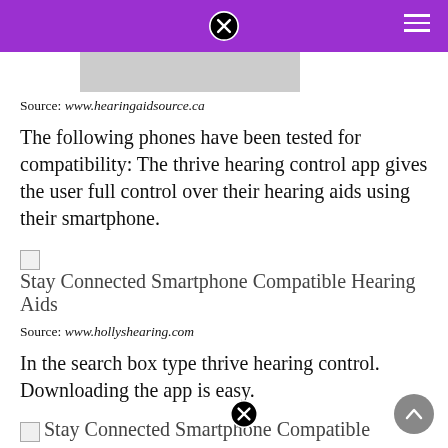Source: www.hearingaidsource.ca
The following phones have been tested for compatibility: The thrive hearing control app gives the user full control over their hearing aids using their smartphone.
[Figure (photo): Stay Connected Smartphone Compatible Hearing Aids (broken image placeholder)]
Source: www.hollyshearing.com
In the search box type thrive hearing control. Downloading the app is easy.
[Figure (photo): Stay Connected Smartphone Compatible (broken image placeholder, partially visible)]